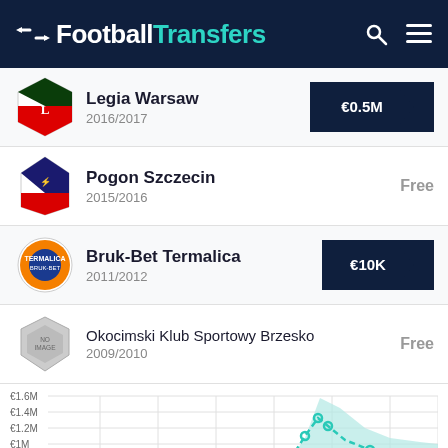FootballTransfers
Legia Warsaw | 2016/2017 | €0.5M
Pogon Szczecin | 2015/2016 | Free
Bruk-Bet Termalica | 2011/2012 | €10K
Okocimski Klub Sportowy Brzesko | 2009/2010 | Free
[Figure (area-chart): Area chart showing player market value over time with teal shaded area and dashed line, y-axis labels €1.6M, €1.4M, €1.2M, €1M, €0.6M, peak around €1.5M]